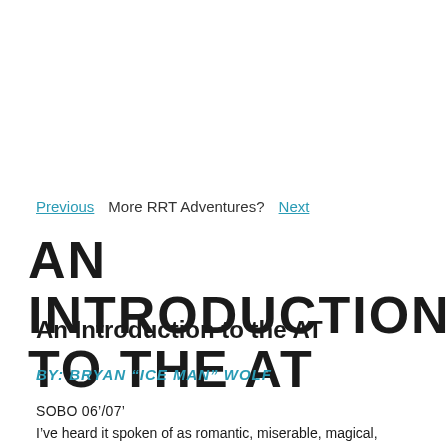Previous   More RRT Adventures?   Next
AN INTRODUCTION TO THE AT
An Introduction to the AT
BY: BRYAN “ICE MAN” WOLF
SOBO 06’/07’
I’ve heard it spoken of as romantic, miserable, magical,